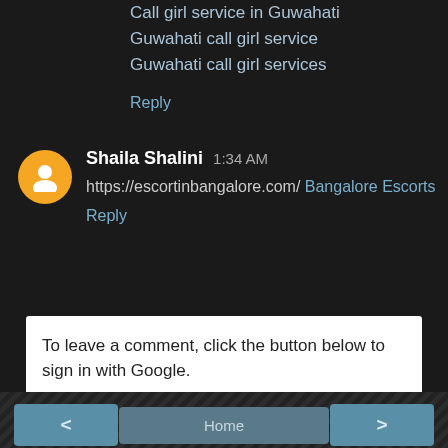Call girl service in Guwahati
Guwahati call girl service
Guwahati call girl services
Reply
Shaila Shalini  1:34 AM
https://escortinbangalore.com/ Bangalore Escorts
Reply
To leave a comment, click the button below to sign in with Google.
SIGN IN WITH GOOGLE
< Home > View web version